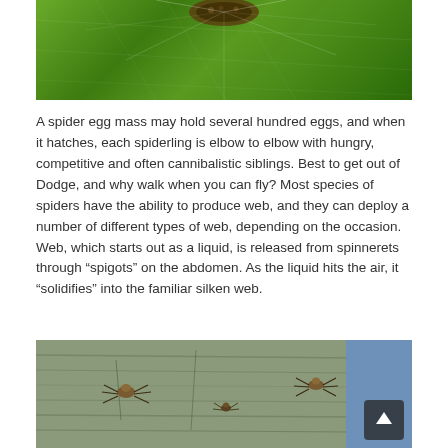[Figure (photo): Close-up macro photograph of a spider egg mass on a green leaf with web strands visible]
A spider egg mass may hold several hundred eggs, and when it hatches, each spiderling is elbow to elbow with hungry, competitive and often cannibalistic siblings. Best to get out of Dodge, and why walk when you can fly? Most species of spiders have the ability to produce web, and they can deploy a number of different types of web, depending on the occasion. Web, which starts out as a liquid, is released from spinnerets through “spigots” on the abdomen. As the liquid hits the air, it “solidifies” into the familiar silken web.
[Figure (photo): Close-up photograph of multiple spiders on weathered gray wood with a blue background]